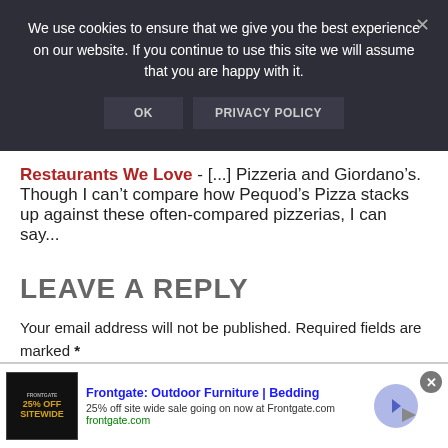We use cookies to ensure that we give you the best experience on our website. If you continue to use this site we will assume that you are happy with it.
OK   PRIVACY POLICY
Restaurants We Love - [...] Pizzeria and Giordano’s. Though I can’t compare how Pequod’s Pizza stacks up against these often-compared pizzerias, I can say...
LEAVE A REPLY
Your email address will not be published. Required fields are marked *
[Figure (screenshot): Advertisement banner for Frontgate: Outdoor Furniture | Bedding. Shows '25% off site wide sale going on now at Frontgate.com' with frontgate.com URL, an image of '25% OFF SITEWIDE', a purple arrow button, and a close X button.]